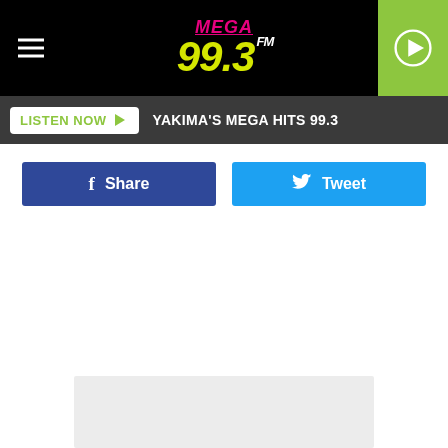[Figure (logo): Mega 99.3 FM radio station logo with hamburger menu and play button]
LISTEN NOW   YAKIMA'S MEGA HITS 99.3
f  Share
Tweet